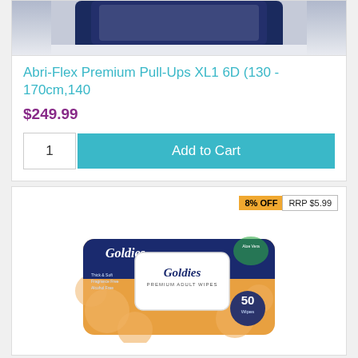[Figure (photo): Partial product image of Abri-Flex Premium Pull-Ups packaging at top of page (cropped)]
Abri-Flex Premium Pull-Ups XL1 6D (130 - 170cm,140
$249.99
1  Add to Cart
8% OFF  RRP $5.99
[Figure (photo): Goldies Premium Adult Wipes 50 count package, blue and orange packaging]